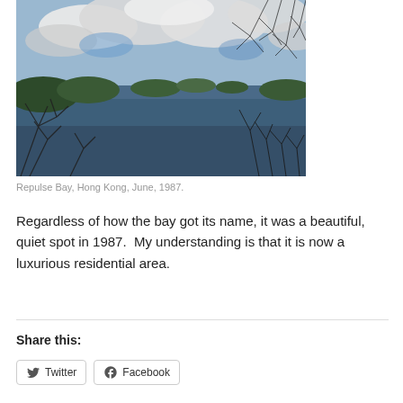[Figure (photo): Coastal view of Repulse Bay, Hong Kong in June 1987. Shows a bay with blue-grey water, small green islands in the distance, cloudy sky with patches of blue, and bare tree branches in the foreground and right side.]
Repulse Bay, Hong Kong, June, 1987.
Regardless of how the bay got its name, it was a beautiful, quiet spot in 1987.  My understanding is that it is now a luxurious residential area.
Share this: